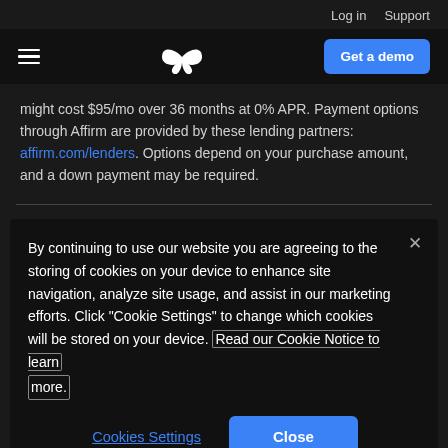Log in  Support
[Figure (screenshot): Navigation bar with hamburger menu, butterfly logo, and 'Get a demo' button]
might cost $95/mo over 36 months at 0% APR. Payment options through Affirm are provided by these lending partners: affirm.com/lenders. Options depend on your purchase amount, and a down payment may be required.
By continuing to use our website you are agreeing to the storing of cookies on your device to enhance site navigation, analyze site usage, and assist in our marketing efforts. Click "Cookie Settings" to change which cookies will be stored on your device. Read our Cookie Notice to learn more.
Cookies Settings   Close